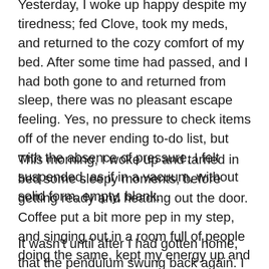Yesterday, I woke up happy despite my tiredness; fed Clove, took my meds, and returned to the cozy comfort of my bed. After some time had passed, and I had both gone to and returned from sleep, there was no pleasant escape feeling. Yes, no pressure to check items off of the never ending to-do list, but with the absence of pressure, I felt suspended, as if in a vacuum, without solid form, empty, blank.
This morning, I woke up and tarried in bed some sleepy moments, before getting ready and heading out the door. Coffee put a bit more pep in my step, and singing out in a room full of people doing the same, kept my energy up and the joy flowing.
It wasn't until after I had gotten home, that the pendulum swung back again. I don't know if it was watching stories on social media overflowing with pain and anger, or the fact that the weekend is quickly approaching it's end